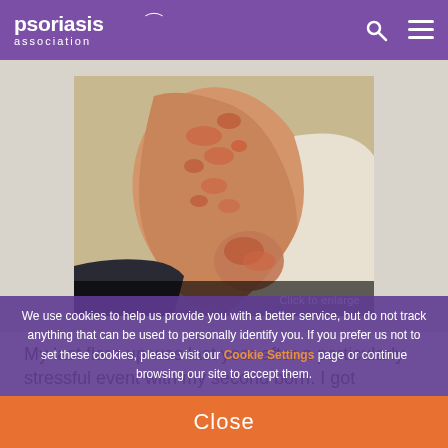psoriasis association
[Figure (photo): Close-up photograph of a person's arm showing psoriasis skin condition with reddish scaly patches, with a 'Click to enlarge' label overlay]
My last flare up was last year after a particularly stressful event with my second born. I got prescribed
We use cookies to help us provide you with a better service, but do not track anything that can be used to personally identify you. If you prefer us not to set these cookies, please visit our Cookie Settings page or continue browsing our site to accept them.
Close